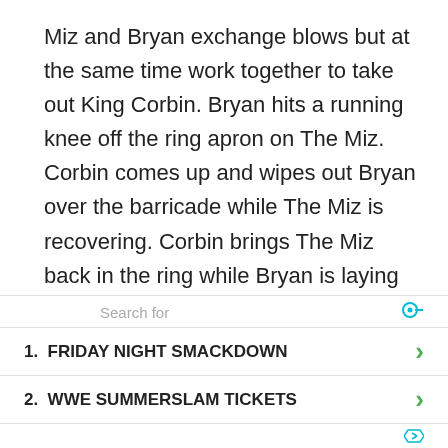Miz and Bryan exchange blows but at the same time work together to take out King Corbin. Bryan hits a running knee off the ring apron on The Miz. Corbin comes up and wipes out Bryan over the barricade while The Miz is recovering. Corbin brings The Miz back in the ring while Bryan is laying outside the ring.
The Miz recovers but momentarily. He then attacks Bryan outside the ring. King Corbin stans over a fallen Miz and Daniel Bryan. The Miz hits Corbin with a neckbreaker. Daniel Bryan gets up and proceeds to hit YES kicks and running dropkicks on Corbin. He
Search for
1.  FRIDAY NIGHT SMACKDOWN
2.  WWE SUMMERSLAM TICKETS